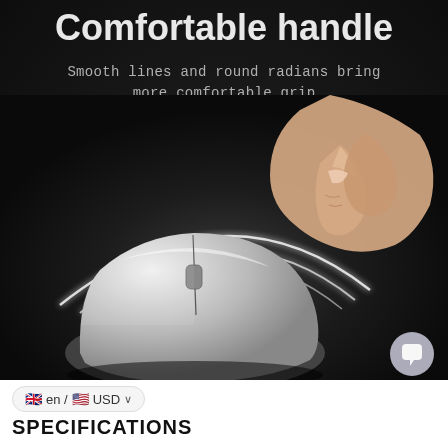Comfortable handle
Smooth lines and round radians bring more comfortable grip
[Figure (photo): A silver wireless computer mouse on a dark background with a hand finger pointing down toward it, and arc lines suggesting the smooth rounded ergonomic shape]
🇬🇧 en / 🇺🇸 USD ∨
SPECIFICATIONS